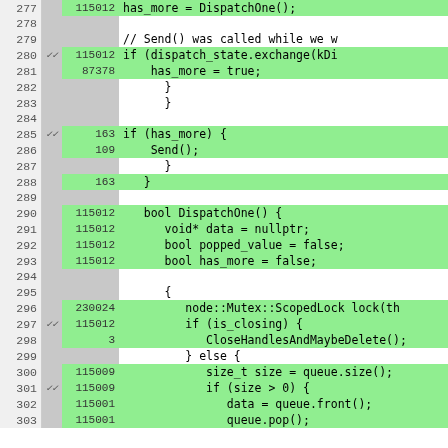[Figure (screenshot): Code coverage view showing C++ source lines 277-303 with line numbers, branch markers, hit counts, and highlighted source code. Green rows indicate covered lines, white/gray rows indicate uncovered or non-executable lines.]